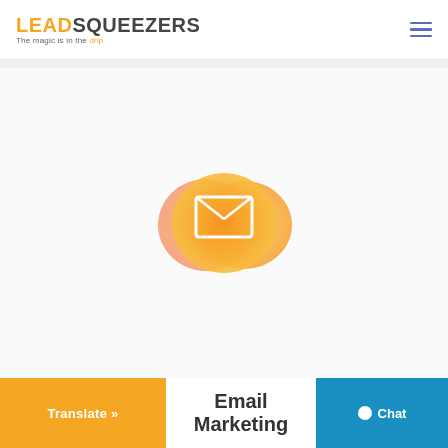LEADSQUEEZERS - The magic is in the drip
[Figure (illustration): Abstract orange-yellow blob shape with an envelope/email icon in the center, used as a decorative illustration for an email marketing service]
Email Marketing
[Figure (other): Translate button (orange background, white text) and Chat button (blue background, white text with circle dot icon)]